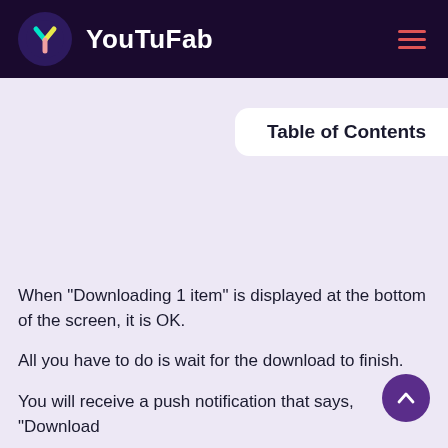YouTuFab
Table of Contents
When "Downloading 1 item" is displayed at the bottom of the screen, it is OK.
All you have to do is wait for the download to finish.
You will receive a push notification that says, "Download